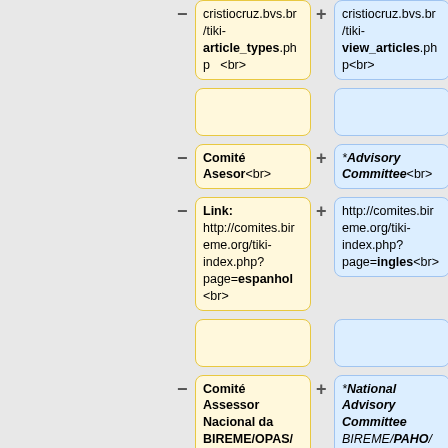[Figure (other): Diff comparison diagram showing pairs of content boxes: yellow (minus/removed) boxes on left and blue (plus/added) boxes on right, with labels showing URL paths, Portuguese and English terminology differences.]
cristiocruz.bvs.br/tiki- article_types.php <br>
cristiocruz.bvs.br/tiki- view_articles.php<br>
Comité Asesor<br>
*Advisory Committee<br>
Link: http://comites.bireme.org/tiki-index.php?page=espanhol <br>
http://comites.bireme.org/tiki-index.php?page=ingles<br>
Comité Assessor Nacional da BIREME/OPAS/OMS<br>
*National Advisory Committee BIREME/PAHO/WHO<br>